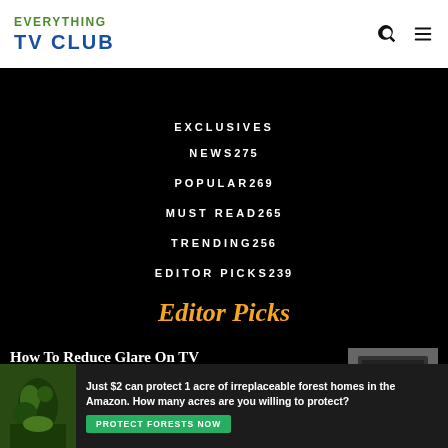EVERYTHING | TV CLUB
EXCLUSIVES
NEWS 275
POPULAR 269
MUST READ 265
TRENDING 256
EDITOR PICKS 239
Editor Picks
How To Reduce Glare On TV
September 13, 2021
[Figure (photo): Hands cleaning or applying film to a TV screen]
How To Watch The Chosen On Apple TV
[Figure (photo): Green Apple TV app icon logo]
Just $2 can protect 1 acre of irreplaceable forest homes in the Amazon. How many acres are you willing to protect?
[Figure (photo): Amazon rainforest wildlife advertisement image]